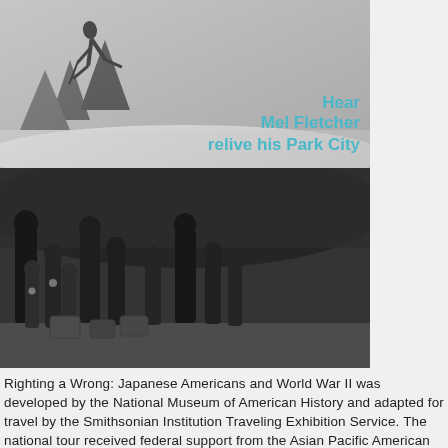[Figure (photo): Black and white photo of a skier or snowboarder bending down on a snowy slope with text overlay 'Hear Mel Fletcher relive his Park City']
[Figure (photo): Black and white historical photograph of a Japanese American family group, adults and many children, standing together with luggage, likely at time of WWII internment]
Righting a Wrong: Japanese Americans and World War II was developed by the National Museum of American History and adapted for travel by the Smithsonian Institution Traveling Exhibition Service. The national tour received federal support from the Asian Pacific American Initiatives Pool, administered by the Smithsonian Asian Pacific American Center, the Terasaki Family Foundation, and C. L. Eby & Ginger Low.